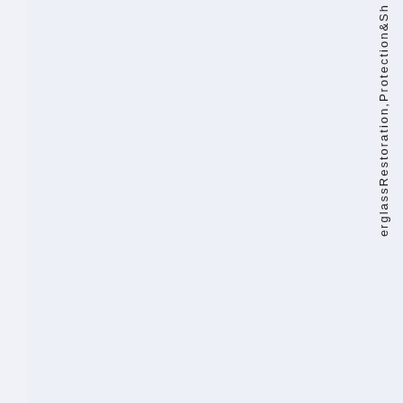erglassRestoration,Protection&Sh